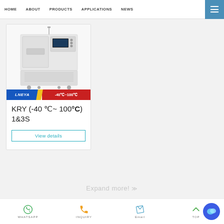HOME   ABOUT   PRODUCTS   APPLICATIONS   NEWS
[Figure (photo): Industrial temperature control unit (KRY series) - white cabinet machine with control panel, branded with LNEYA label showing -40°C~100°C range]
KRY (-40 ℃~ 100℃) 1&3S
View details
Expand more!
WHATSAPP   INQUIRY   Email   TOP